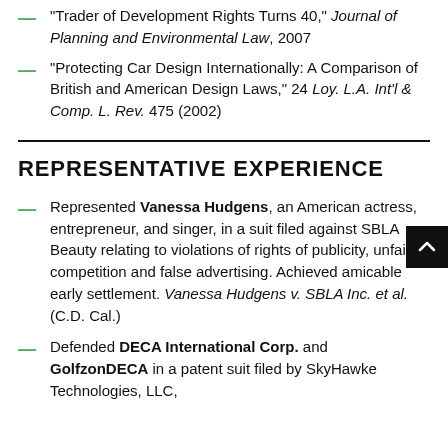"Trader of Development Rights Turns 40," Journal of Planning and Environmental Law, 2007
"Protecting Car Design Internationally: A Comparison of British and American Design Laws," 24 Loy. L.A. Int'l & Comp. L. Rev. 475 (2002)
REPRESENTATIVE EXPERIENCE
Represented Vanessa Hudgens, an American actress, entrepreneur, and singer, in a suit filed against SBLA Beauty relating to violations of rights of publicity, unfair competition and false advertising. Achieved amicable early settlement. Vanessa Hudgens v. SBLA Inc. et al. (C.D. Cal.)
Defended DECA International Corp. and GolfzonDECA in a patent suit filed by SkyHawke Technologies, LLC,